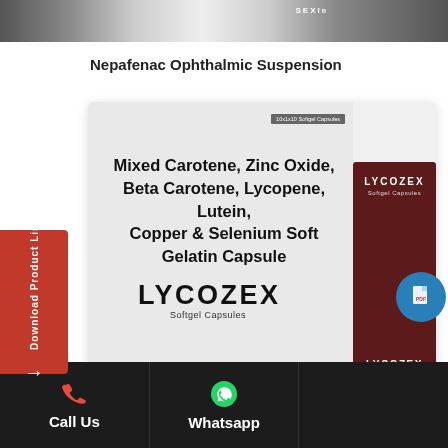[Figure (photo): Top portion showing product packaging photograph, partially cropped]
Nepafenac Ophthalmic Suspension
[Figure (photo): Product packaging photo of LYCOZEX Softgel Capsules. The box shows: Mixed Carotene, Zinc Oxide, Beta Carotene, Lycopene, Lutein, Copper & Selenium Soft Gelatin Capsule. Brand name LYCOZEX Softgel Capsules. 10x1x10 Softgel Capsules. Dark maroon secondary box visible on right side showing LYCOZEX branding.]
Download Product List
Call Us   Whatsapp